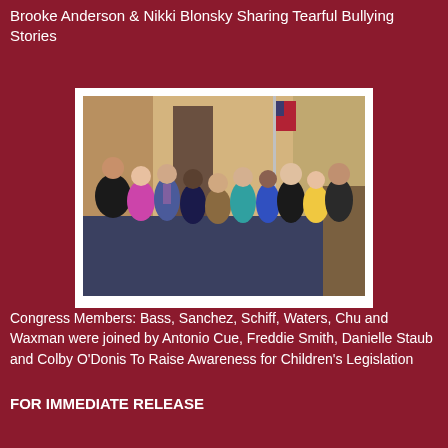Brooke Anderson & Nikki Blonsky Sharing Tearful Bullying Stories
[Figure (photo): Group photo of approximately 10 people standing together in a formal indoor setting with an American flag in the background]
Congress Members: Bass, Sanchez, Schiff, Waters, Chu and Waxman were joined by Antonio Cue, Freddie Smith, Danielle Staub and Colby O'Donis To Raise Awareness for Children's Legislation
FOR IMMEDIATE RELEASE